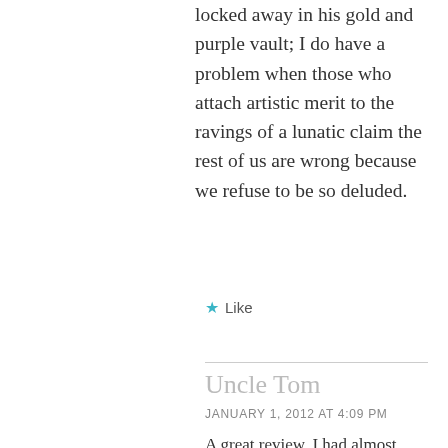locked away in his gold and purple vault; I do have a problem when those who attach artistic merit to the ravings of a lunatic claim the rest of us are wrong because we refuse to be so deluded.
★ Like
Uncle Tom
JANUARY 1, 2012 AT 4:09 PM
A great review. I had almost